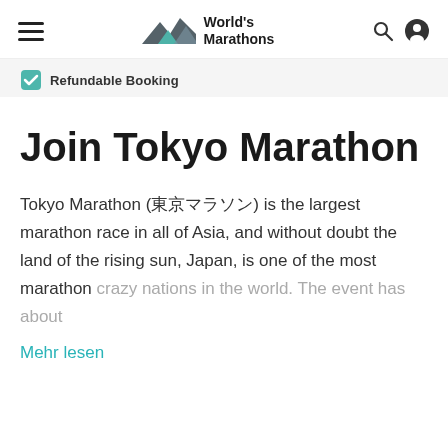World's Marathons
Refundable Booking
Join Tokyo Marathon
Tokyo Marathon (東京マラソン) is the largest marathon race in all of Asia, and without doubt the land of the rising sun, Japan, is one of the most marathon crazy nations in the world. The event has about
Mehr lesen